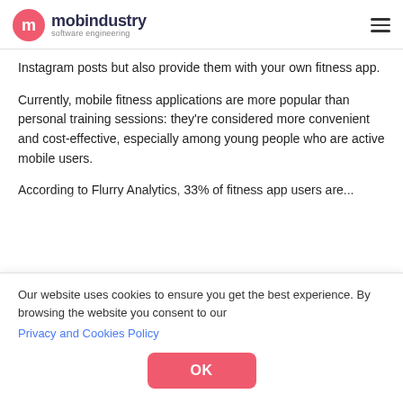mobindustry software engineering
Instagram posts but also provide them with your own fitness app.
Currently, mobile fitness applications are more popular than personal training sessions: they're considered more convenient and cost-effective, especially among young people who are active mobile users.
According to Flurry Analytics, 33% of fitness app users are...
Our website uses cookies to ensure you get the best experience. By browsing the website you consent to our Privacy and Cookies Policy